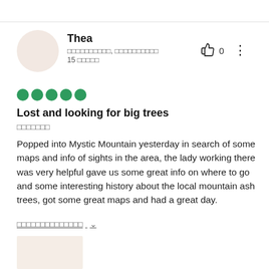[Figure (illustration): User avatar circle, light pinkish-beige background]
Thea
□□□□□□□□□□, □□□□□□□□□□
15 □□□□□
[Figure (illustration): Thumbs up icon with count 0 and vertical dots menu]
[Figure (illustration): Five green filled circles representing 5-star rating]
Lost and looking for big trees
□□□□□□□
Popped into Mystic Mountain yesterday in search of some maps and info of sights in the area, the lady working there was very helpful gave us some great info on where to go and some interesting history about the local mountain ash trees, got some great maps and had a great day.
□□□□□□□□□□□□□□ ∨
[Figure (photo): Thumbnail photo, light warm beige color]